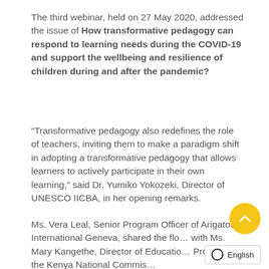The third webinar, held on 27 May 2020, addressed the issue of How transformative pedagogy can respond to learning needs during the COVID-19 and support the wellbeing and resilience of children during and after the pandemic?
“Transformative pedagogy also redefines the role of teachers, inviting them to make a paradigm shift in adopting a transformative pedagogy that allows learners to actively participate in their own learning,” said Dr. Yumiko Yokozeki, Director of UNESCO IICBA, in her opening remarks.
Ms. Vera Leal, Senior Program Officer of Arigatou International Geneva, shared the flo… with Ms. Mary Kangethe, Director of Educatio… Program at the Kenya National Commis…